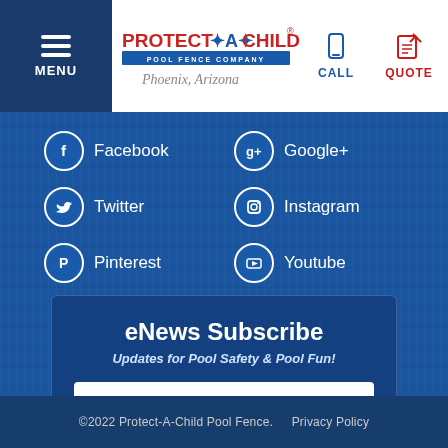[Figure (logo): Protect-A-Child Pool Fence Company logo with Phoenix, Arizona tagline]
Facebook
Google+
Twitter
Instagram
Pinterest
Youtube
eNews Subscribe
Updates for Pool Safety & Pool Fun!
Email Address
SUBSCRIBE
©2022 Protect-A-Child Pool Fence.   Privacy Policy